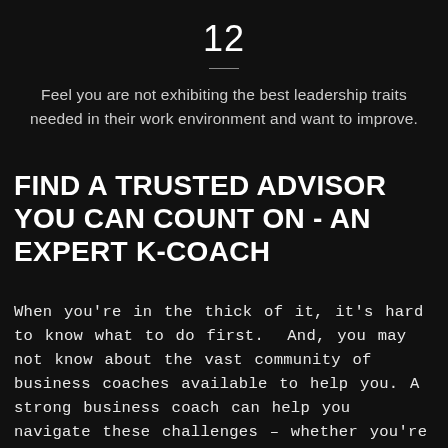12
Feel you are not exhibiting the best leadership traits needed in their work environment and want to improve.
FIND A TRUSTED ADVISOR YOU CAN COUNT ON - AN EXPERT K-COACH
When you're in the thick of it, it's hard to know what to do first. And, you may not know about the vast community of business coaches available to help you. A strong business coach can help you navigate these challenges – whether you're a start-up seeking